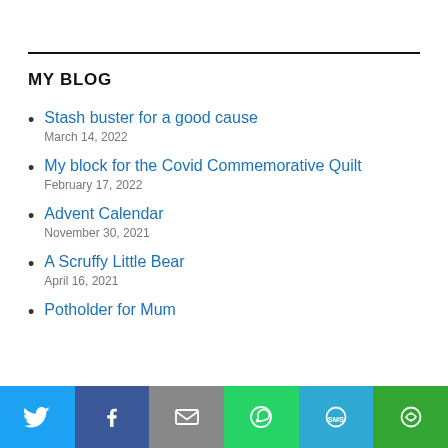MY BLOG
Stash buster for a good cause
March 14, 2022
My block for the Covid Commemorative Quilt
February 17, 2022
Advent Calendar
November 30, 2021
A Scruffy Little Bear
April 16, 2021
Potholder for Mum
[Figure (infographic): Social sharing bar with Twitter (blue), Facebook (dark blue), Email (grey), WhatsApp (green), SMS (light blue), and More (green) buttons]